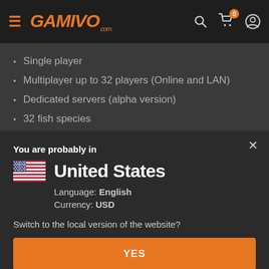GAMIVO.com
Single player
Multiplayer up to 32 players (Online and LAN)
Dedicated servers (alpha version)
32 fish species
21 open world maps
You are probably in
United States
Language: English
Currency: USD
Switch to the local version of the website?
YES